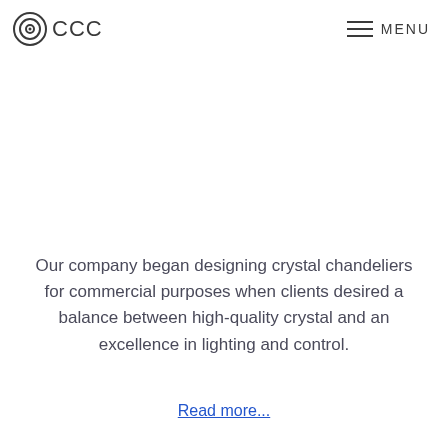CCC MENU
Our company began designing crystal chandeliers for commercial purposes when clients desired a balance between high-quality crystal and an excellence in lighting and control.
Read more...